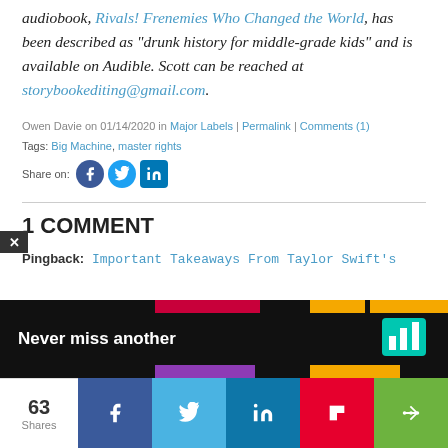audiobook, Rivals! Frenemies Who Changed the World, has been described as "drunk history for middle-grade kids" and is available on Audible. Scott can be reached at storybookediting@gmail.com.
Owen Davie on 01/14/2020 in Major Labels | Permalink | Comments (1)
Tags: Big Machine, master rights
Share on:
1 COMMENT
Pingback: Important Takeaways From Taylor Swift's Master... ions | Nurtu...
[Figure (infographic): Dark overlay banner with colored strips and text 'Never miss another' with a logo icon on right]
[Figure (infographic): Bottom social share bar with counts: 63 Shares, Facebook, Twitter, LinkedIn, Flipboard, More buttons]